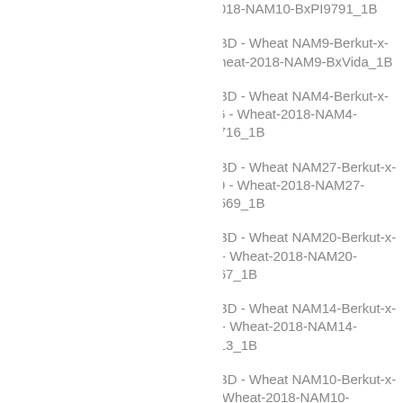Wheat ABD - Wheat NAM10-Berkut-x-PI9791 - Wheat-2018-NAM10-BxPI9791_1B
Wheat ABD - Wheat NAM9-Berkut-x-Vida - Wheat-2018-NAM9-BxVida_1B
Wheat ABD - Wheat NAM4-Berkut-x-PI366716 - Wheat-2018-NAM4-BxPI366716_1B
Wheat ABD - Wheat NAM27-Berkut-x-PI192569 - Wheat-2018-NAM27-BxPI192569_1B
Wheat ABD - Wheat NAM20-Berkut-x-PI94567 - Wheat-2018-NAM20-BxPI94567_1B
Wheat ABD - Wheat NAM14-Berkut-x-PI70613 - Wheat-2018-NAM14-BxPI70613_1B
Wheat ABD - Wheat NAM10-Berkut-x-PI9791 - Wheat-2018-NAM10-BxPI9791_1B